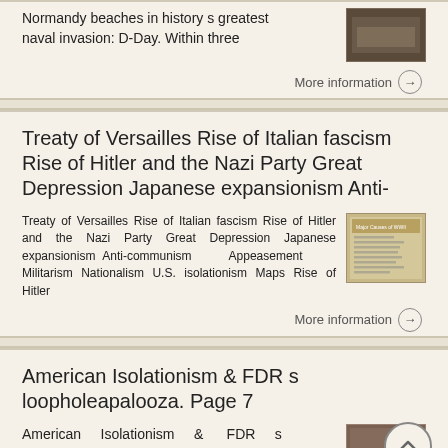Normandy beaches in history s greatest naval invasion: D-Day. Within three
More information →
Treaty of Versailles Rise of Italian fascism Rise of Hitler and the Nazi Party Great Depression Japanese expansionism Anti-
Treaty of Versailles Rise of Italian fascism Rise of Hitler and the Nazi Party Great Depression Japanese expansionism Anti-communism Appeasement Militarism Nationalism U.S. isolationism Maps Rise of Hitler
[Figure (screenshot): Thumbnail image of a presentation slide titled 'Major Causes of WWII' with bullet points listing causes]
More information →
American Isolationism & FDR s loopholeapalooza. Page 7
American Isolationism & FDR s